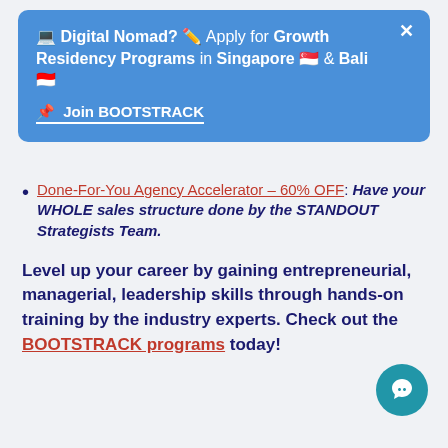[Figure (screenshot): Blue popup banner with close button (×). Text: 💻 Digital Nomad? ✏️ Apply for Growth Residency Programs in Singapore 🇸🇬 & Bali 🇮🇩. Below: 📌 Join BOOTSTRACK (underlined link).]
Done-For-You Agency Accelerator – 60% OFF: Have your WHOLE sales structure done by the STANDOUT Strategists Team.
Level up your career by gaining entrepreneurial, managerial, leadership skills through hands-on training by the industry experts. Check out the BOOTSTRACK programs today!